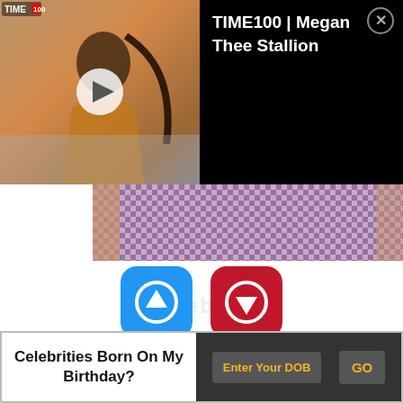[Figure (screenshot): Video thumbnail of a woman in orange dress with TIME100 logo overlay]
TIME100 | Megan Thee Stallion
[Figure (photo): Photo of person in checkered purple/lilac shirt]
225 (upvotes) 67 (downvotes)
Listed In: Sportspersons
Birthdate: May 2, 1975
Sun Sign: Taurus
Birthplace: London, England
Celebrities Born On My Birthday? Enter Your DOB GO